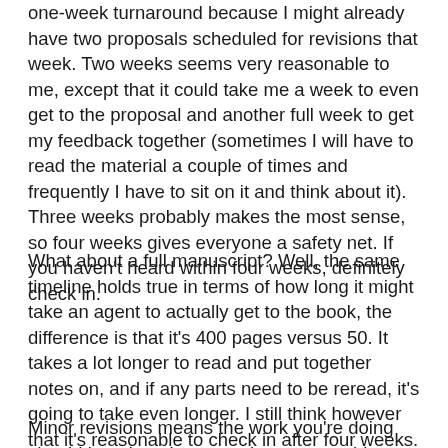one-week turnaround because I might already have two proposals scheduled for revisions that week. Two weeks seems very reasonable to me, except that it could take me a week to even get to the proposal and another full week to get my feedback together (sometimes I will have to read the material a couple of times and frequently I have to sit on it and think about it). Three weeks probably makes the most sense, so four weeks gives everyone a safety net. If you haven't heard within four weeks, definitely check in.
What about a full manuscript? Well, the same timeline holds true in terms of how long it might take an agent to actually get to the book, the difference is that it's 400 pages versus 50. It takes a lot longer to read and put together notes on, and if any parts need to be reread, it's going to take even longer. I still think however that it's reasonable to check in after four weeks. That seems plenty long to me and at least by that point you should be able to get a time from your agent for when she will get back to you.
Minor revisions means the work you're doing should be minor. It means that presumably you won't be recreating